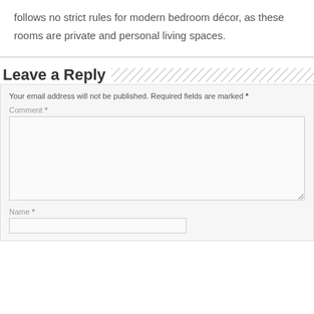follows no strict rules for modern bedroom décor, as these rooms are private and personal living spaces.
Leave a Reply
Your email address will not be published. Required fields are marked *
Comment *
Name *